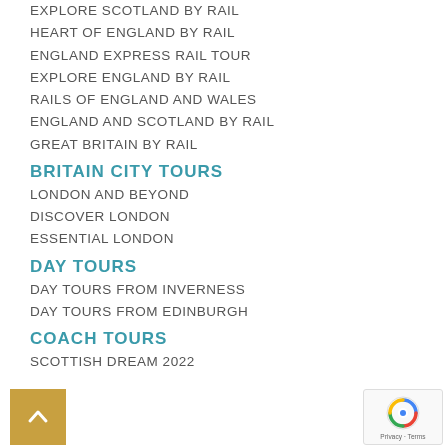EXPLORE SCOTLAND BY RAIL
HEART OF ENGLAND BY RAIL
ENGLAND EXPRESS RAIL TOUR
EXPLORE ENGLAND BY RAIL
RAILS OF ENGLAND AND WALES
ENGLAND AND SCOTLAND BY RAIL
GREAT BRITAIN BY RAIL
BRITAIN CITY TOURS
LONDON AND BEYOND
DISCOVER LONDON
ESSENTIAL LONDON
DAY TOURS
DAY TOURS FROM INVERNESS
DAY TOURS FROM EDINBURGH
COACH TOURS
SCOTTISH DREAM 2022